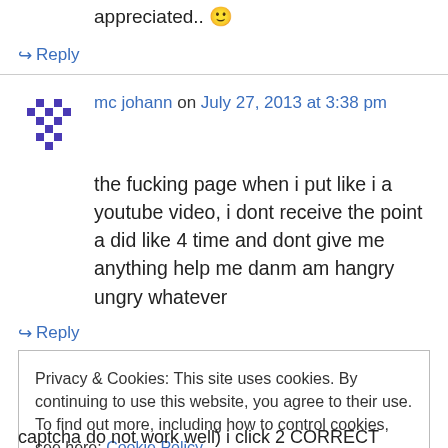appreciated.. 🙂
↪ Reply
mc johann on July 27, 2013 at 3:38 pm
the fucking page when i put like i a youtube video, i dont receive the point a did like 4 time and dont give me anything help me danm am hangry ungry whatever
↪ Reply
Privacy & Cookies: This site uses cookies. By continuing to use this website, you agree to their use.
To find out more, including how to control cookies, see here: Cookie Policy
Close and accept
captcha do not work well) i click 2 CORRECT